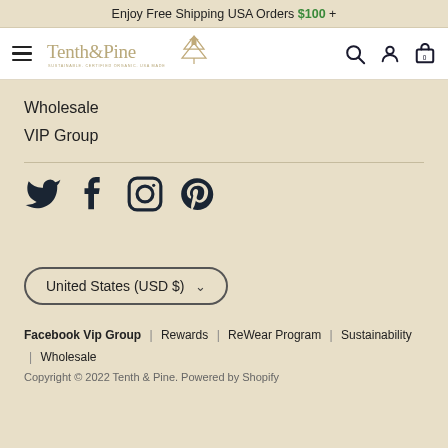Enjoy Free Shipping USA Orders $100 +
[Figure (logo): Tenth & Pine logo with tree icon and tagline: Sustainable, Certified Organic, USA Made]
Wholesale
VIP Group
[Figure (illustration): Social media icons: Twitter, Facebook, Instagram, Pinterest]
United States (USD $)
Facebook Vip Group | Rewards | ReWear Program | Sustainability | Wholesale
Copyright © 2022 Tenth & Pine. Powered by Shopify